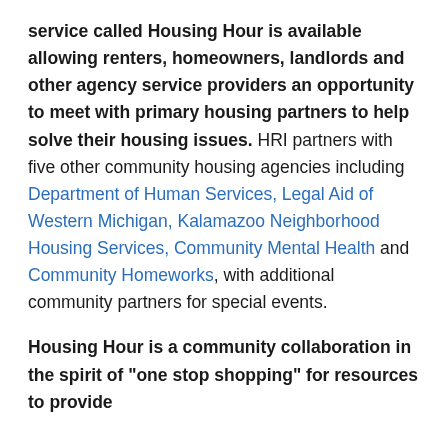service called Housing Hour is available allowing renters, homeowners, landlords and other agency service providers an opportunity to meet with primary housing partners to help solve their housing issues. HRI partners with five other community housing agencies including Department of Human Services, Legal Aid of Western Michigan, Kalamazoo Neighborhood Housing Services, Community Mental Health and Community Homeworks, with additional community partners for special events.
Housing Hour is a community collaboration in the spirit of "one stop shopping" for resources to provide